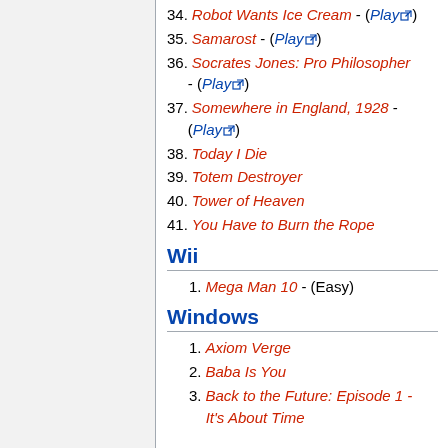34. Robot Wants Ice Cream - (Play)
35. Samarost - (Play)
36. Socrates Jones: Pro Philosopher - (Play)
37. Somewhere in England, 1928 - (Play)
38. Today I Die
39. Totem Destroyer
40. Tower of Heaven
41. You Have to Burn the Rope
Wii
1. Mega Man 10 - (Easy)
Windows
1. Axiom Verge
2. Baba Is You
3. Back to the Future: Episode 1 - It's About Time